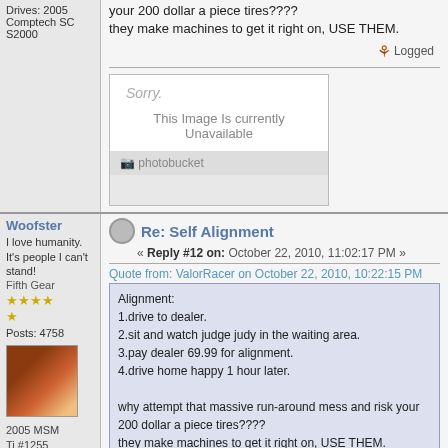Drives: 2005 Comptech SC S2000
your 200 dollar a piece tires????
they make machines to get it right on, USE THEM.
Logged
[Figure (screenshot): Photobucket image unavailable placeholder showing 'Sorry. This Image Is currently Unavailable']
Woofster
I love humanity. It's people I can't stand!
Fifth Gear
Posts: 4758
Re: Self Alignment
« Reply #12 on: October 22, 2010, 11:02:17 PM »
Quote from: ValorRacer on October 22, 2010, 10:22:15 PM
Alignment:
1.drive to dealer.
2.sit and watch judge judy in the waiting area.
3.pay dealer 69.99 for alignment.
4.drive home happy 1 hour later.

why attempt that massive run-around mess and risk your 200 dollar a piece tires????
they make machines to get it right on, USE THEM.
2005 MSM Ti #1255
1. Drive to a dealer
2. Drive away before they touch your car!